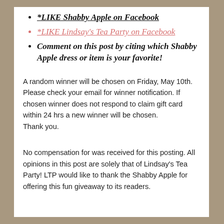*LIKE Shabby Apple on Facebook
*LIKE Lindsay's Tea Party on Facebook
Comment on this post by citing which Shabby Apple dress or item is your favorite!
A random winner will be chosen on Friday, May 10th. Please check your email for winner notification. If chosen winner does not respond to claim gift card within 24 hrs a new winner will be chosen.
Thank you.
No compensation for was received for this posting. All opinions in this post are solely that of Lindsay's Tea Party! LTP would like to thank the Shabby Apple for offering this fun giveaway to its readers.